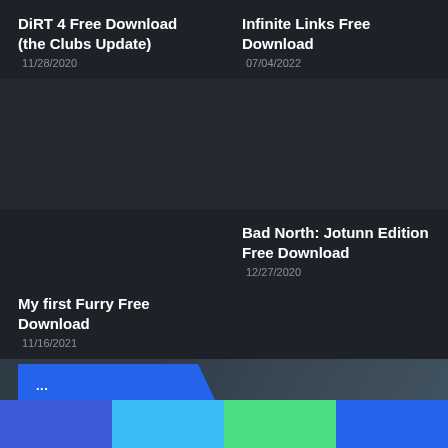DiRT 4 Free Download (the Clubs Update)
11/28/2020
Infinite Links Free Download
07/04/2022
Bad North: Jotunn Edition Free Download
12/27/2020
My first Furry Free Download
11/16/2021